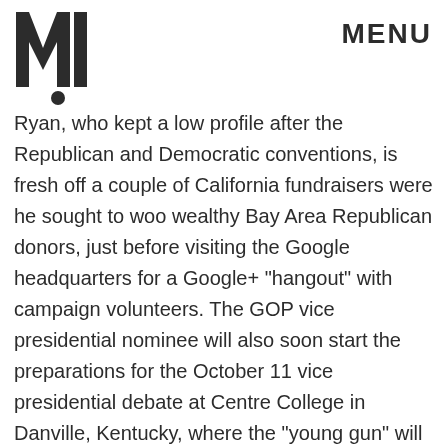MIC  MENU
Ryan, who kept a low profile after the Republican and Democratic conventions, is fresh off a couple of California fundraisers were he sought to woo wealthy Bay Area Republican donors, just before visiting the Google headquarters for a Google+ "hangout" with campaign volunteers. The GOP vice presidential nominee will also soon start the preparations for the October 11 vice presidential debate at Centre College in Danville, Kentucky, where the "young gun" will face Vice President Joe Biden.